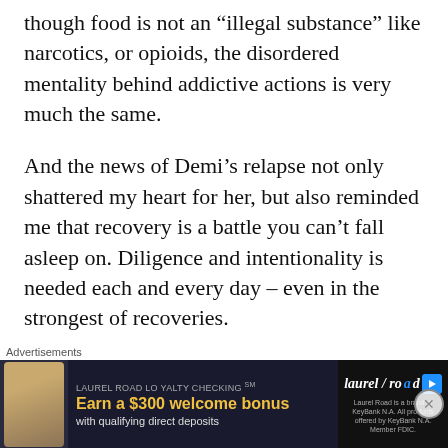though food is not an “illegal substance” like narcotics, or opioids, the disordered mentality behind addictive actions is very much the same.
And the news of Demi’s relapse not only shattered my heart for her, but also reminded me that recovery is a battle you can’t fall asleep on. Diligence and intentionality is needed each and every day – even in the strongest of recoveries.
But the fact is, I’m here, and I’ve overcome a lot. God has blessed my life with complete healing,
[Figure (other): Advertisement banner for Laurel Road Loyalty Checking. Shows a woman, text reading 'LAUREL ROAD LOYALTY CHECKING SM', 'Earn a $300 welcome bonus with qualifying direct deposits', and the Laurel Road logo with a blue play button icon and small disclaimer text.]